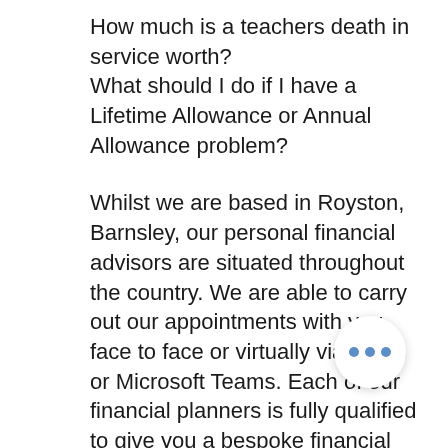How much is a teachers death in service worth?
What should I do if I have a Lifetime Allowance or Annual Allowance problem?
Whilst we are based in Royston, Barnsley, our personal financial advisors are situated throughout the country. We are able to carry out our appointments with you face to face or virtually via Zoom or Microsoft Teams. Each of our financial planners is fully qualified to give you a bespoke financial plan. But our relationship with you does not end after we have delivered our advice - our commitment...